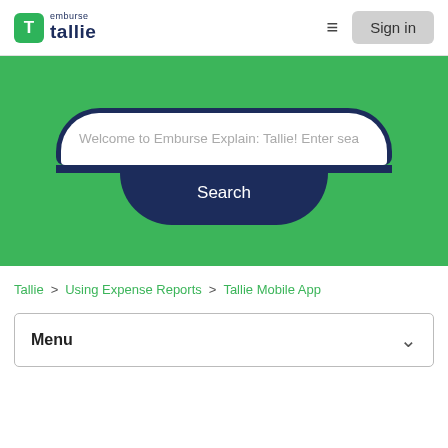[Figure (logo): Emburse Tallie logo with green T icon and text 'emburse tallie']
[Figure (screenshot): Green hero banner with search bar reading 'Welcome to Emburse Explain: Tallie! Enter sea' and a Search button]
Tallie > Using Expense Reports > Tallie Mobile App
Menu